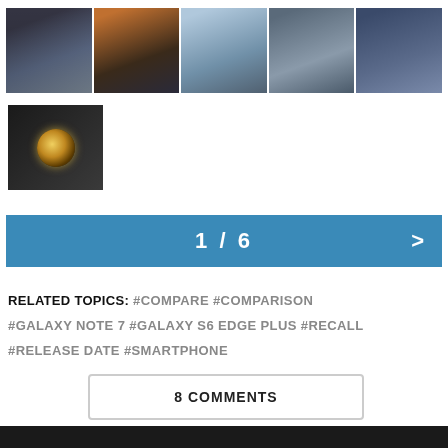[Figure (photo): A strip of 5 photos showing Samsung smartphone hands-on images]
[Figure (photo): A single photo showing the back of a smartphone with decorative pattern]
1 / 6  >
RELATED TOPICS: #COMPARE #COMPARISON #GALAXY NOTE 7 #GALAXY S6 EDGE PLUS #RECALL #RELEASE DATE #SMARTPHONE
8 COMMENTS